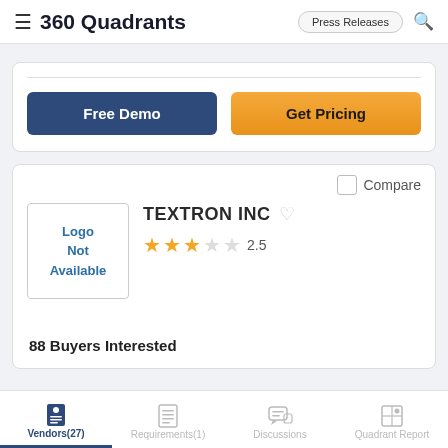360 Quadrants
Free Demo
Get Pricing
Compare
TEXTRON INC
Rating: 2.5 out of 5 stars
88 Buyers Interested
Vendors(27)  Requirements(1)  Discussions  Quadrant Report